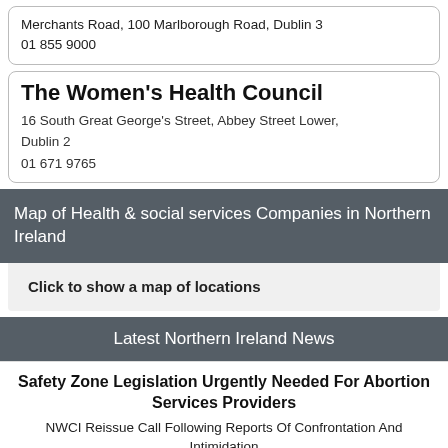Merchants Road, 100 Marlborough Road, Dublin 3
01 855 9000
The Women's Health Council
16 South Great George's Street, Abbey Street Lower, Dublin 2
01 671 9765
Map of Health & social services Companies in Northern Ireland
Click to show a map of locations
Latest Northern Ireland News
Safety Zone Legislation Urgently Needed For Abortion Services Providers
NWCI Reissue Call Following Reports Of Confrontation And Intimidation
Father Of Three Children Found Dead In Dublin